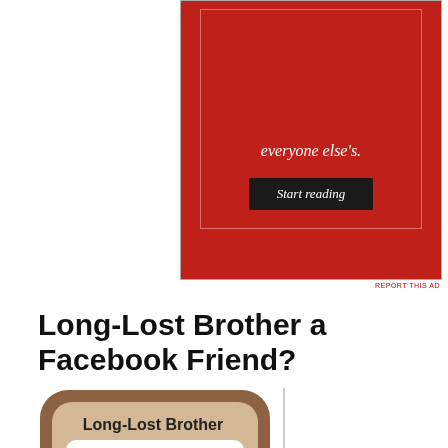[Figure (screenshot): Red advertisement banner with white text 'everyone else's.' and a dark button labeled 'Start reading']
REPORT THIS AD
Long-Lost Brother a Facebook Friend?
[Figure (illustration): A keyboard key styled icon with rounded square shape in brown/tan colors. Top label reads 'Long-Lost Brother', center shows a sad face emoticon :( in large characters, bottom label reads 'a Facebook Friend?'. A vertical divider line appears to the right of the icon.]